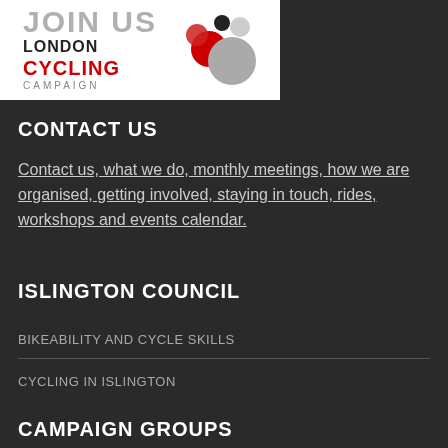[Figure (logo): London Cycling Campaign logo with JOIN US text above and decorative bubbles graphic. Text reads JOIN US / LONDON / CYCLING / CAMPAIGN with red, grey and black bubble circles.]
CONTACT US
Contact us, what we do, monthly meetings, how we are organised, getting involved, staying in touch, rides, workshops and events calendar.
ISLINGTON COUNCIL
BIKEABILITY AND CYCLE SKILLS
CYCLING IN ISLINGTON
CAMPAIGN GROUPS